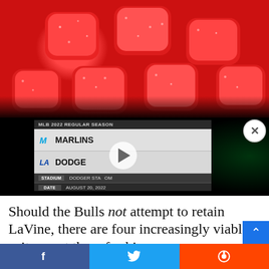[Figure (photo): Red sugary candy gummies on white background, top portion of page]
[Figure (screenshot): Video player showing MLB 2022 Regular Season game: Marlins vs Dodgers at Dodger Stadium, August 20 2022, with play button overlay]
Should the Bulls not attempt to retain LaVine, there are four increasingly viable suitors out there for him.
“Whether that stems from LaVine’s own exit interview with local reporters in late April or a genuine belief he will leave the franchise that still can pay him the most is unknown,” wrote Chicago Bulls insider K.C. Johnson